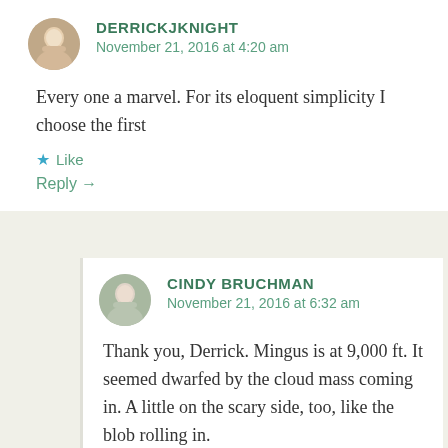DERRICKJKNIGHT
November 21, 2016 at 4:20 am
Every one a marvel. For its eloquent simplicity I choose the first
Like
Reply →
CINDY BRUCHMAN
November 21, 2016 at 6:32 am
Thank you, Derrick. Mingus is at 9,000 ft. It seemed dwarfed by the cloud mass coming in. A little on the scary side, too, like the blob rolling in.